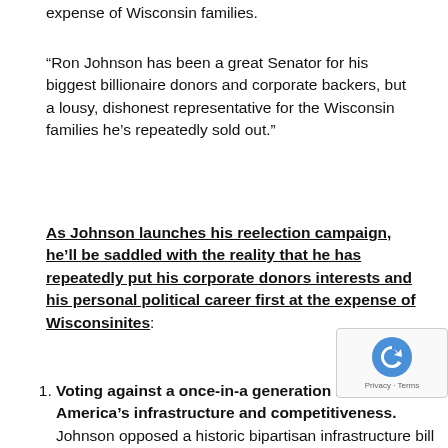expense of Wisconsin families.
“Ron Johnson has been a great Senator for his biggest billionaire donors and corporate backers, but a lousy, dishonest representative for the Wisconsin families he’s repeatedly sold out.”
As Johnson launches his reelection campaign, he’ll be saddled with the reality that he has repeatedly put his corporate donors interests and his personal political career first at the expense of Wisconsinites:
Voting against a once-in-a generation investment in America’s infrastructure and competitiveness. Johnson opposed a historic bipartisan infrastructure bill that creates good-paying jobs, fixes broken roads and bridges, ensures clean water, and expands high-speed internet for all. Despite praising the